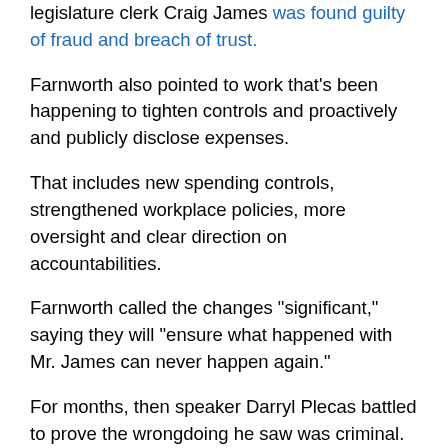legislature clerk Craig James was found guilty of fraud and breach of trust.
Farnworth also pointed to work that's been happening to tighten controls and proactively and publicly disclose expenses.
That includes new spending controls, strengthened workplace policies, more oversight and clear direction on accountabilities.
Farnworth called the changes "significant," saying they will "ensure what happened with Mr. James can never happen again."
For months, then speaker Darryl Plecas battled to prove the wrongdoing he saw was criminal. He asked for independent reports to verify the claims.